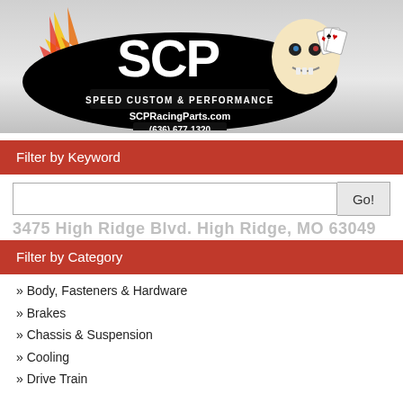[Figure (logo): SCP Speed Custom & Performance logo with flames, skull graphic, SCPRacingParts.com and (636) 677-1320]
Filter by Keyword
3475 High Ridge Blvd. High Ridge, MO 63049
Filter by Category
» Body, Fasteners & Hardware
» Brakes
» Chassis & Suspension
» Cooling
» Drive Train